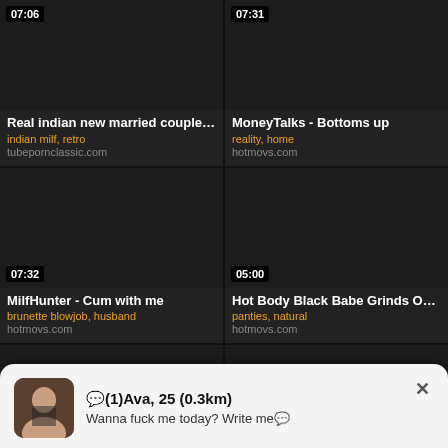[Figure (screenshot): Video thumbnail card - Real indian new married couple... with duration 07:06, tags: indian milf, retro, site: tubepornclassic.com]
[Figure (screenshot): Video thumbnail card - MoneyTalks - Bottoms up with duration 07:31, tags: reality, home, site: hotmovs.com]
[Figure (screenshot): Video thumbnail card - MilfHunter - Cum with me with duration 07:32, tags: brunette blowjob, husband, site: hotmovs.com]
[Figure (screenshot): Video thumbnail card - Hot Body Black Babe Grinds On ... with duration 05:00, tags: panties, natural, site: hotmovs.com]
[Figure (screenshot): Partial video thumbnail card bottom row left]
[Figure (screenshot): Partial video thumbnail card bottom row right]
💬(1)Ava, 25 (0.3km) Wanna fuck me today? Write me💬